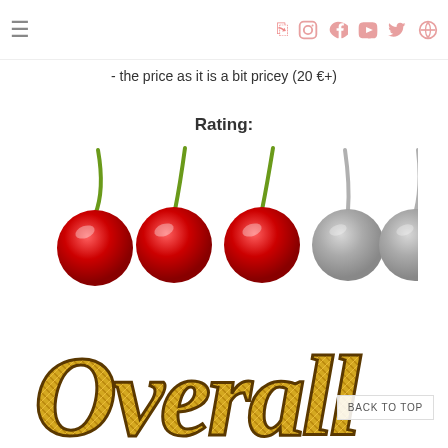navigation bar with hamburger menu and social icons
- the price as it is a bit pricey (20 €+)
Rating:
[Figure (illustration): 5 cherry rating icons: 3 red (filled) cherries and 2 grey (empty) cherries, indicating a 3 out of 5 rating]
[Figure (illustration): Large decorative gold glitter script text reading 'Overall' partially visible at the bottom of the page]
BACK TO TOP